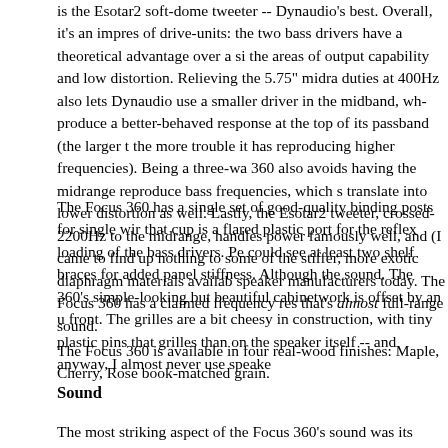is the Esotar2 soft-dome tweeter -- Dynaudio's best. Overall, it's an impressive lineup of drive-units: the two bass drivers have a theoretical advantage over a single driver in the areas of output capability and low distortion. Relieving the 5.75" midrange of bass duties at 400Hz also lets Dynaudio use a smaller driver in the midband, which will produce a better-behaved response at the top of its passband (the larger the driver, the more trouble it has reproducing higher frequencies). Being a three-way design, the 360 also avoids having the midrange reproduce bass frequencies, which should also translate into lower distortion as well. Lastly, the Esotar2 tweeter, crossed over at 2200Hz to the midrange, handles power famously well, and (I came to find) gives up nothing to some of the stiffer, more exotic diaphragm materials available from other speaker manufacturers today. The Focus 360 has a claimed frequency response that's almost full-range sound.
The Focus 360 has a single set of good-quality binding posts for single wiring, and in that cup is a flared plastic port for the reflex loading of the bass drivers. Peering inside, I could see at least two shelf braces for added panel stiffness. Although the... sound. The 360's simple-looking but beautiful cabinetwork is offset by an unusual curved front. The grilles are a bit cheesy in construction, with tiny plastic pins that fit more on the grilles than on the speaker itself -- and anyway, I almost never use speaker grilles.
The Focus 360 is available in four real-wood finishes: Maple, Cherry, Rosewood, and book-matched grain.
Sound
The most striking aspect of the Focus 360's sound was its neutral midrange, given the relatively non-neutral sounds of most other speakers. This was true with the... "Always On My Mind," from his Call Me Irresponsible (CD, Reprise 100313... voice on this recording is a touch larger than life, and that's how the Focus... the detail in his voice with a neutral sonic demeanor. There was no editoris...